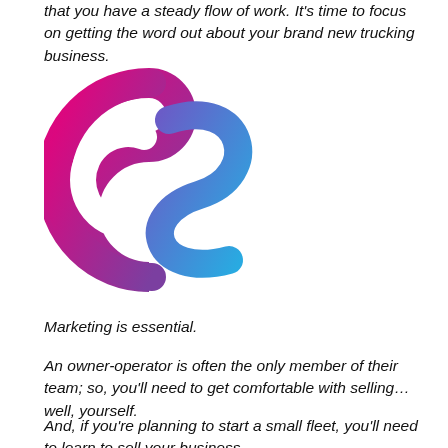that you have a steady flow of work. It's time to focus on getting the word out about your brand new trucking business.
[Figure (logo): CS logo — stylized letter C in magenta-to-purple gradient and letter S in blue gradient, interlinked]
Marketing is essential.
An owner-operator is often the only member of their team; so, you'll need to get comfortable with selling… well, yourself.
And, if you're planning to start a small fleet, you'll need to learn to sell your business.